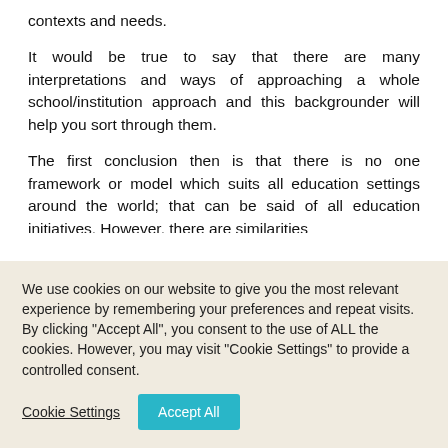contexts and needs.
It would be true to say that there are many interpretations and ways of approaching a whole school/institution approach and this backgrounder will help you sort through them.
The first conclusion then is that there is no one framework or model which suits all education settings around the world; that can be said of all education initiatives. However, there are similarities
We use cookies on our website to give you the most relevant experience by remembering your preferences and repeat visits. By clicking "Accept All", you consent to the use of ALL the cookies. However, you may visit "Cookie Settings" to provide a controlled consent.
Cookie Settings
Accept All